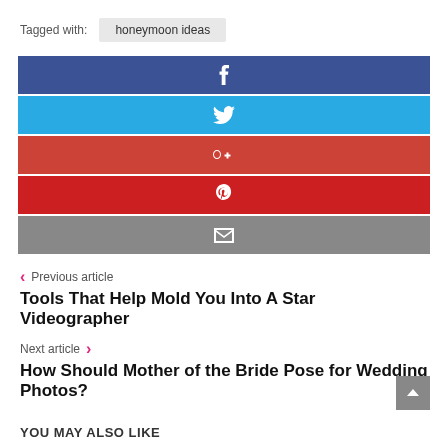Tagged with: honeymoon ideas
[Figure (infographic): Social share buttons: Facebook (dark blue), Twitter (light blue), Google+ (orange-red), Pinterest (red), Email (grey)]
< Previous article
Tools That Help Mold You Into A Star Videographer
Next article >
How Should Mother of the Bride Pose for Wedding Photos?
YOU MAY ALSO LIKE